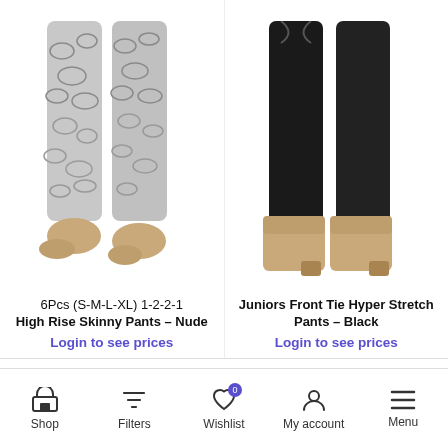[Figure (photo): Mannequin legs wearing nude/grey snake-print high rise skinny pants with bare feet, left product slot]
[Figure (photo): Mannequin legs wearing black stretch pants with tan ankle boots, right product slot]
6Pcs (S-M-L-XL) 1-2-2-1 High Rise Skinny Pants – Nude
Login to see prices
Juniors Front Tie Hyper Stretch Pants – Black
Login to see prices
Shop  Filters  Wishlist 0  My account  Menu